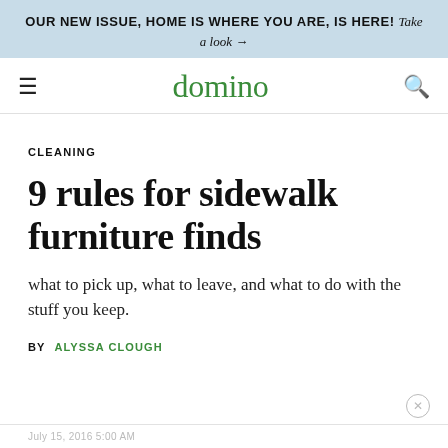OUR NEW ISSUE, HOME IS WHERE YOU ARE, IS HERE! Take a look →
domino
CLEANING
9 rules for sidewalk furniture finds
what to pick up, what to leave, and what to do with the stuff you keep.
BY ALYSSA CLOUGH